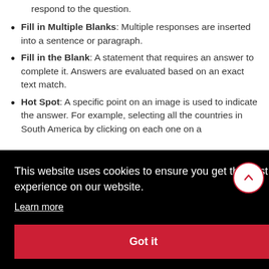respond to the question.
Fill in Multiple Blanks: Multiple responses are inserted into a sentence or paragraph.
Fill in the Blank: A statement that requires an answer to complete it. Answers are evaluated based on an exact text match.
Hot Spot: A specific point on an image is used to indicate the answer. For example, selecting all the countries in South America by clicking on each one on a
This website uses cookies to ensure you get the best experience on our website.
Learn more
Got it
Multiple Choice: Allows a number of